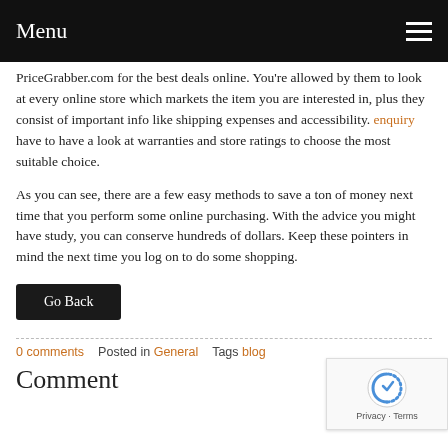Menu
PriceGrabber.com for the best deals online. You're allowed by them to look at every online store which markets the item you are interested in, plus they consist of important info like shipping expenses and accessibility. enquiry have to have a look at warranties and store ratings to choose the most suitable choice.
As you can see, there are a few easy methods to save a ton of money next time that you perform some online purchasing. With the advice you might have study, you can conserve hundreds of dollars. Keep these pointers in mind the next time you log on to do some shopping.
Go Back
0 comments   Posted in General   Tags blog
Comment